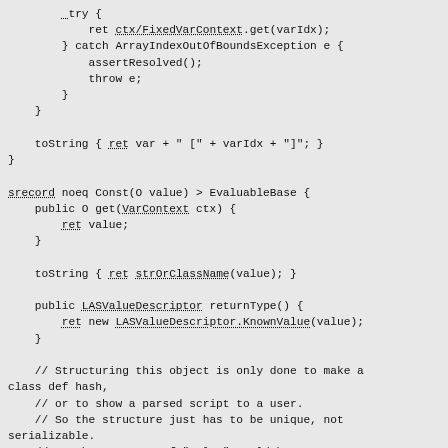try {
    ret ctx/FixedVarContext.get(varIdx);
} catch ArrayIndexOutOfBoundsException e {
    assertResolved();
    throw e;
}
}

toString { ret var + " [" + varIdx + "]";
}

srecord noeq Const(O value) > EvaluableBase {
    public O get(VarContext ctx) {
        ret value;
    }

    toString { ret strOrClassName(value); }

    public LASValueDescriptor returnType() {
        ret new LASValueDescriptor.KnownValue(value);
    }

    // Structuring this object is only done to make a class def hash,
    // or to show a parsed script to a user.
    // So the structure just has to be unique, not serializable.
    // As the contents of "value" could be an unpersistable object,
    // we just stringify it.